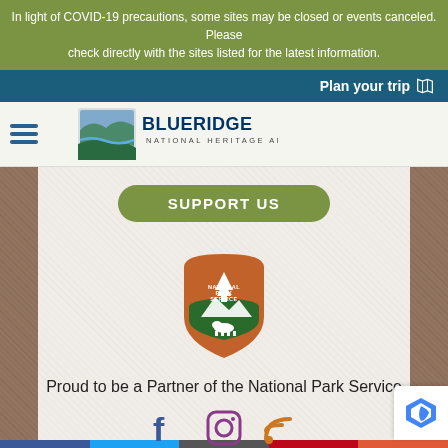In light of COVID-19 precautions, some sites may be closed or events canceled. Please check directly with the sites listed for the latest information.
Plan your trip
[Figure (logo): Blue Ridge National Heritage Area logo with mountain and river imagery]
SUPPORT US
[Figure (logo): National Park Service arrowhead badge logo with tree, mountains, and bison]
Proud to be a Partner of the National Park Service
[Figure (other): Social media icons: Facebook, Instagram, RSS feed]
[Figure (other): Bottom navigation bar with Facebook, Twitter, Email, Pinterest, and More buttons]